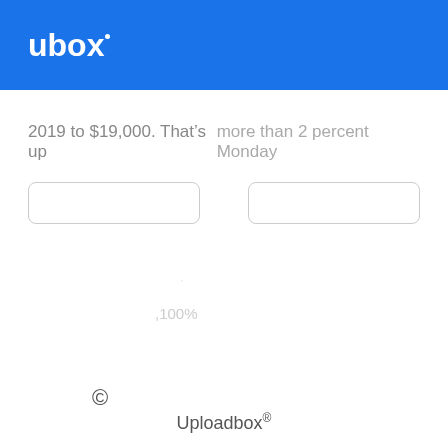ubox
2019 to $19,000. That’s up    more than 2 percent Monday
,100%
© Uploadbox®